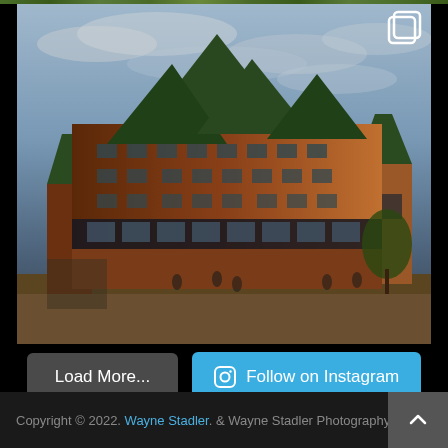[Figure (photo): Photograph of Château Frontenac (or similar château-style hotel) in Quebec City, Canada. A large red-brick castle-like building with green copper roofs and turrets, set against a dramatic cloudy sky at dusk. People are visible in the foreground plaza. A stacked-layers icon is visible in the upper right corner of the photo, indicating an Instagram carousel post.]
Load More...
Follow on Instagram
Copyright © 2022. Wayne Stadler. & Wayne Stadler Photography Al...